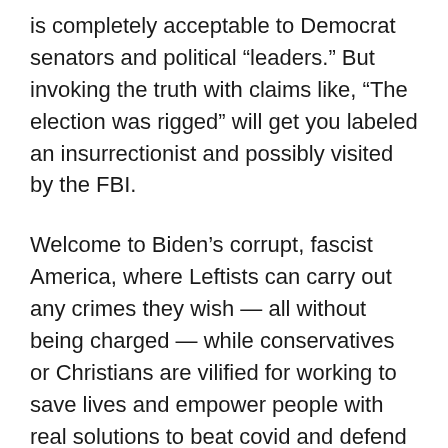is completely acceptable to Democrat senators and political “leaders.” But invoking the truth with claims like, “The election was rigged” will get you labeled an insurrectionist and possibly visited by the FBI.
Welcome to Biden’s corrupt, fascist America, where Leftists can carry out any crimes they wish — all without being charged — while conservatives or Christians are vilified for working to save lives and empower people with real solutions to beat covid and defend freedom.